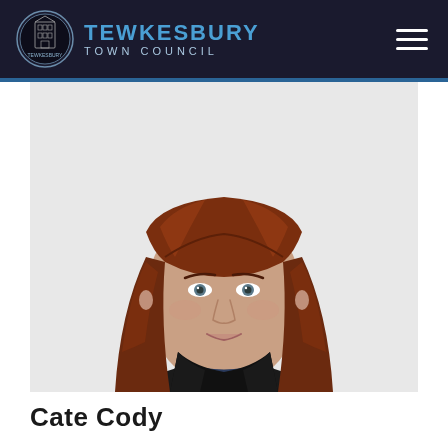Tewkesbury Town Council
[Figure (photo): Portrait photo of Cate Cody, a woman with long red hair wearing a blue top and dark jacket, photographed against a white background]
Cate Cody